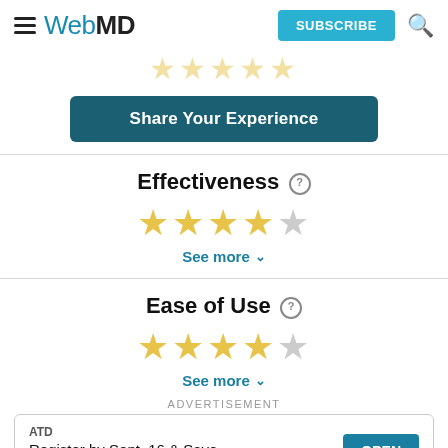WebMD | SUBSCRIBE
[Figure (other): Partial star rating row at top of page (truncated, showing approximately 4.5 stars in gold/yellow)]
Share Your Experience
Effectiveness
[Figure (other): 4.5 out of 5 stars rating for Effectiveness — 4 filled gold stars and 1 half/empty star]
See more
Ease of Use
[Figure (other): 4.5 out of 5 stars rating for Ease of Use — 4 filled gold stars and 1 half/empty star]
See more
ADVERTISEMENT
ATD
Register by Sept. 16 & Save
OPEN